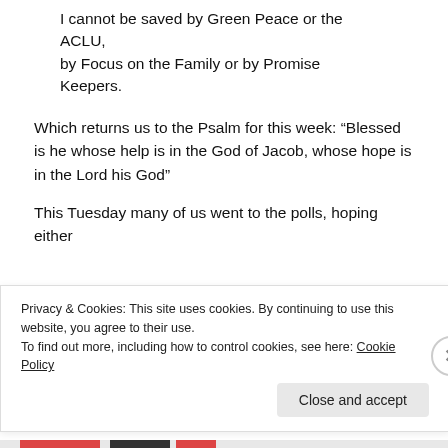I cannot be saved by Green Peace or the ACLU,
by Focus on the Family or by Promise Keepers.
Which returns us to the Psalm for this week: “Blessed is he whose help is in the God of Jacob, whose hope is in the Lord his God”
This Tuesday many of us went to the polls, hoping either
Privacy & Cookies: This site uses cookies. By continuing to use this website, you agree to their use.
To find out more, including how to control cookies, see here: Cookie Policy
Close and accept